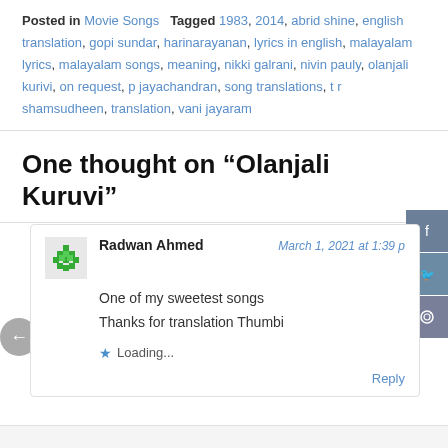Posted in Movie Songs   Tagged 1983, 2014, abrid shine, english translation, gopi sundar, harinarayanan, lyrics in english, malayalam lyrics, malayalam songs, meaning, nikki galrani, nivin pauly, olanjali kurivi, on request, p jayachandran, song translations, t r shamsudheen, translation, vani jayaram
One thought on “Olanjali Kuruvi”
Radwan Ahmed
March 1, 2021 at 1:39 pm
One of my sweetest songs
Thanks for translation Thumbi
Loading...
Reply